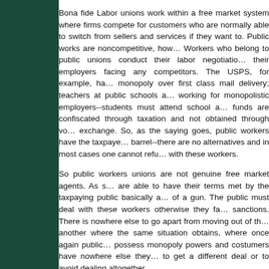Bona fide Labor unions work within a free market system where firms compete for customers who are normally able to switch from sellers and services if they want to. Public works are noncompetitive, however. Workers who belong to public unions conduct their labor negotiations with their employers facing any competitors. The USPS, for example, has a monopoly over first class mail delivery; teachers at public schools are working for monopolistic employers--students must attend school and funds are confiscated through taxation and not obtained through voluntary exchange. So, as the saying goes, public workers have the taxpayers over a barrel--there are no alternatives and in most cases one cannot refuse to deal with these workers.
So public workers unions are not genuine free market agents. As such, they are able to have their terms met by the taxpaying public basically at the point of a gun. The public must deal with these workers otherwise they face legal sanctions. There is nowhere else to go apart from moving out of the state to another where the same situation obtains, where once again public workers possess monopoly powers and costumers have nowhere else they can turn to get a different deal or to avoid dealing altogether.
In a genuine free market place unionization would involve organizing workers in a firm that competes with others for costumers and with which costumers are free not to enter into trade. So the unions would not be able to engage in extortionist practices, making demands that must by law be met. If